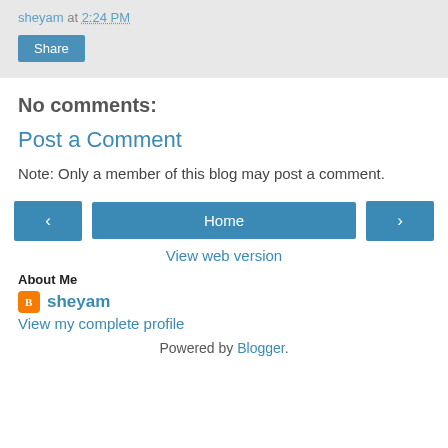sheyam at 2:24 PM
Share
No comments:
Post a Comment
Note: Only a member of this blog may post a comment.
‹  Home  ›
View web version
About Me
sheyam
View my complete profile
Powered by Blogger.